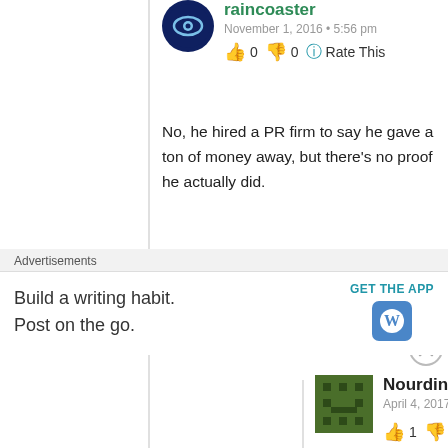raincoaster
November 1, 2016 • 5:56 pm
👍 0 👎 0 ℹ Rate This
No, he hired a PR firm to say he gave a ton of money away, but there's no proof he actually did.
★ Like
Reply ↓
Nourdin
April 4, 2017 • 7:08 am
👍 1 👎 0 ℹ Rate This
yep cause they may need him, there's an opportunity for them to use a young genius guy to
Advertisements
Build a writing habit.
Post on the go.
GET THE APP